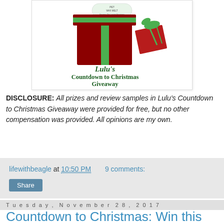[Figure (illustration): Lulu's Countdown to Christmas Giveaway illustration featuring a red gift box with green ribbon and a smaller gift tag, with text 'Lulu's Countdown to Christmas Giveaway' in green festive font]
DISCLOSURE: All prizes and review samples in Lulu's Countdown to Christmas Giveaway were provided for free, but no other compensation was provided. All opinions are my own.
lifewithbeagle at 10:50 PM  9 comments:
Share
Tuesday, November 28, 2017
Countdown to Christmas: Win this